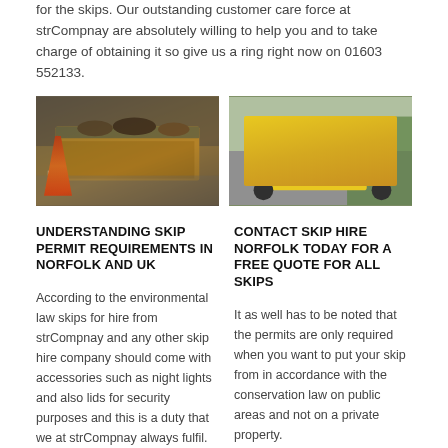for the skips. Our outstanding customer care force at strCompnay are absolutely willing to help you and to take charge of obtaining it so give us a ring right now on 01603 552133.
[Figure (photo): A yellow skip filled with debris next to an orange and white traffic cone on a street]
[Figure (photo): A yellow skip filled with mixed rubbish on a residential street with greenery in the background]
UNDERSTANDING SKIP PERMIT REQUIREMENTS IN NORFOLK AND UK
CONTACT SKIP HIRE NORFOLK TODAY FOR A FREE QUOTE FOR ALL SKIPS
According to the environmental law skips for hire from strCompnay and any other skip hire company should come with accessories such as night lights and also lids for security purposes and this is a duty that we at strCompnay always fulfil.
It as well has to be noted that the permits are only required when you want to put your skip from in accordance with the conservation law on public areas and not on a private property.
strCompnay can tell you that a